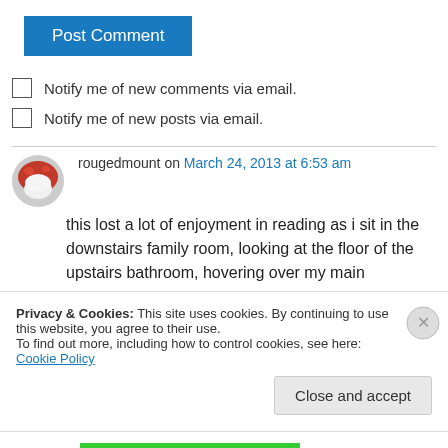Post Comment
Notify me of new comments via email.
Notify me of new posts via email.
rougedmount on March 24, 2013 at 6:53 am
this lost a lot of enjoyment in reading as i sit in the downstairs family room, looking at the floor of the upstairs bathroom, hovering over my main
Privacy & Cookies: This site uses cookies. By continuing to use this website, you agree to their use.
To find out more, including how to control cookies, see here: Cookie Policy
Close and accept